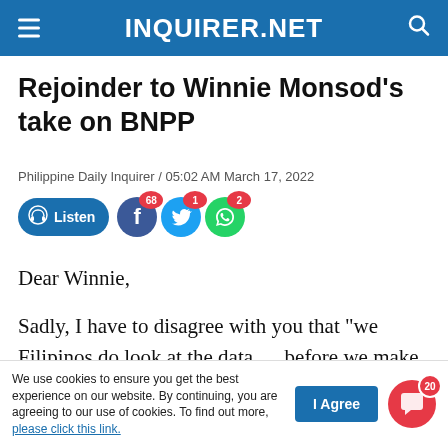INQUIRER.NET
Rejoinder to Winnie Monsod’s take on BNPP
Philippine Daily Inquirer / 05:02 AM March 17, 2022
[Figure (other): Listen audio button and social share icons for Facebook (68), Twitter (1), WhatsApp (2)]
Dear Winnie,
Sadly, I have to disagree with you that “we Filipinos do look at the data … before we make decisions.” Not always, unfortunately: we elected
We use cookies to ensure you get the best experience on our website. By continuing, you are agreeing to our use of cookies. To find out more, please click this link.